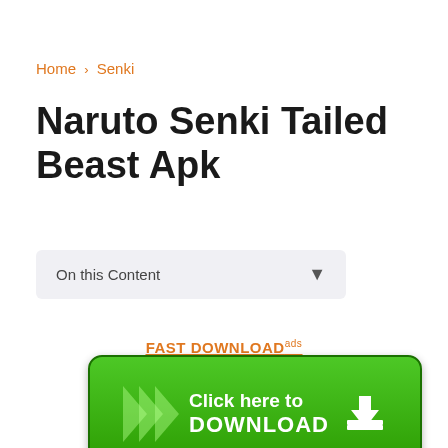Home > Senki
Naruto Senki Tailed Beast Apk
On this Content ▾
FAST DOWNLOADads
[Figure (other): Green download button with chevron arrows and text 'Click here to DOWNLOAD' with download icon]
Download Naruto Senki Tailed Beast. Download Naruto Senki Mod APK from Yang Ingin Main gila gilaan versi mod APK kamu bisa gunakan